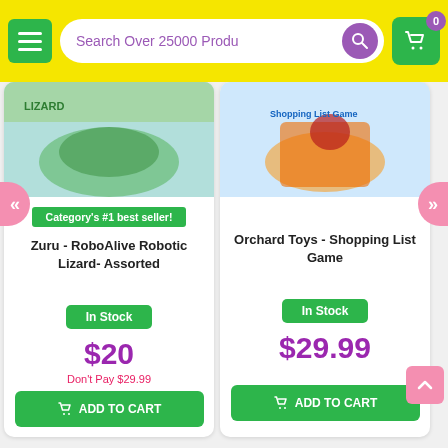[Figure (screenshot): E-commerce website header with yellow background, hamburger menu, search bar reading 'Search Over 25000 Produ', purple search icon, and green cart icon with badge showing 0]
[Figure (screenshot): Product listing page showing two product cards: left card has Zuru RoboAlive Robotic Lizard image with green 'Category's #1 best seller!' badge, right card has Orchard Toys Shopping List Game image. Both have In Stock buttons, prices, and Add to Cart buttons.]
Category's #1 best seller!
Zuru - RoboAlive Robotic Lizard- Assorted
In Stock
$20
Don't Pay $29.99
ADD TO CART
Orchard Toys - Shopping List Game
In Stock
$29.99
ADD TO CART